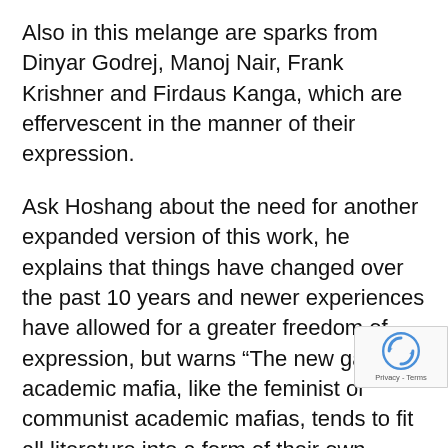Also in this melange are sparks from Dinyar Godrej, Manoj Nair, Frank Krishner and Firdaus Kanga, which are effervescent in the manner of their expression.
Ask Hoshang about the need for another expanded version of this work, he explains that things have changed over the past 10 years and newer experiences have allowed for a greater freedom of expression, but warns “The new gay academic mafia, like the feminist or communist academic mafias, tends to fit all literature into a form of their own special pleading.” This and the fact that “what is remarkable is the number of genres homosexual writing encompasses and the easy transition from one genre to another i single piece of work by taboo-breaking live Literature has no sex and poems have no s organs. There is only good writing or bad